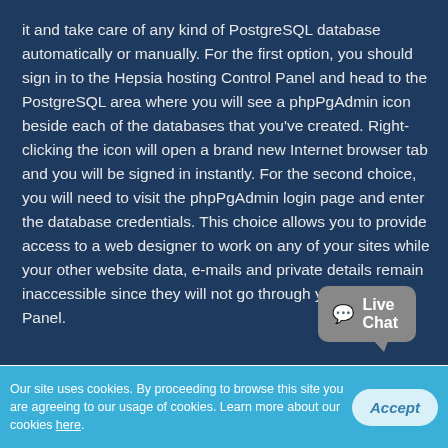it and take care of any kind of PostgreSQL database automatically or manually. For the first option, you should sign in to the Hepsia hosting Control Panel and head to the PostgreSQL area where you will see a phpPgAdmin icon beside each of the databases that you've created. Right-clicking the icon will open a brand new Internet browser tab and you will be signed in instantly. For the second choice, you will need to visit the phpPgAdmin login page and enter the database credentials. This choice allows you to provide access to a web designer to work on any of your sites while your other website data, e-mails and private details remain inaccessible since they will not go through your Control Panel.
[Figure (other): Live Chat button widget with speech bubble shape and chat icon]
Our site uses cookies. By proceeding to browse this site you are agreeing to our usage of cookies. Learn more about our cookies here.